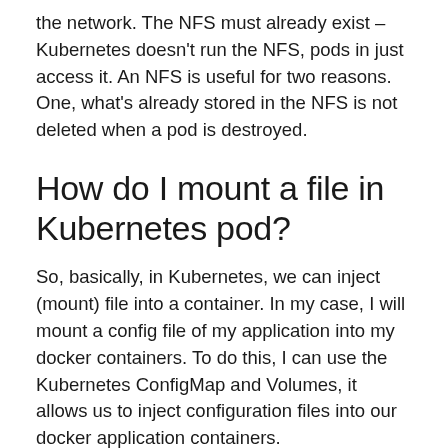the network. The NFS must already exist – Kubernetes doesn't run the NFS, pods in just access it. An NFS is useful for two reasons. One, what's already stored in the NFS is not deleted when a pod is destroyed.
How do I mount a file in Kubernetes pod?
So, basically, in Kubernetes, we can inject (mount) file into a container. In my case, I will mount a config file of my application into my docker containers. To do this, I can use the Kubernetes ConfigMap and Volumes, it allows us to inject configuration files into our docker application containers.